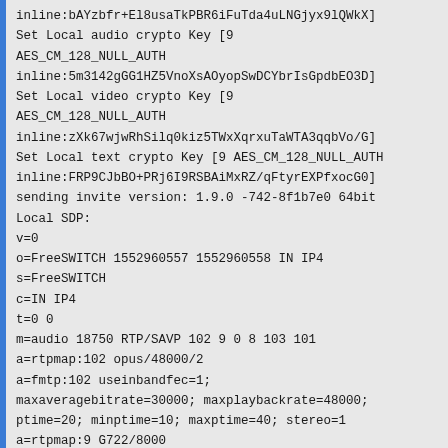inline:bAYzbfr+El8usaTkPBR6iFuTda4uLNGjyx9lQWkX]
Set Local audio crypto Key [9
AES_CM_128_NULL_AUTH
inline:5m3142gGG1HZ5VnoXsAOyopSwDCYbrIsGpdbEO3D]
Set Local video crypto Key [9
AES_CM_128_NULL_AUTH
inline:zXk67wjwRhSilq0kiz5TWxXqrxuTaWTA3qqbVo/G]
Set Local text crypto Key [9 AES_CM_128_NULL_AUTH
inline:FRP9CJbBO+PRj6I9RSBAiMxRZ/qFtyrEXPfxocG0]
sending invite version: 1.9.0 -742-8f1b7e0 64bit
Local SDP:
v=0
o=FreeSWITCH 1552960557 1552960558 IN IP4
s=FreeSWITCH
c=IN IP4
t=0 0
m=audio 18750 RTP/SAVP 102 9 0 8 103 101
a=rtpmap:102 opus/48000/2
a=fmtp:102 useinbandfec=1;
maxaveragebitrate=30000; maxplaybackrate=48000;
ptime=20; minptime=10; maxptime=40; stereo=1
a=rtpmap:9 G722/8000
a=rtpmap:0 PCMU/8000